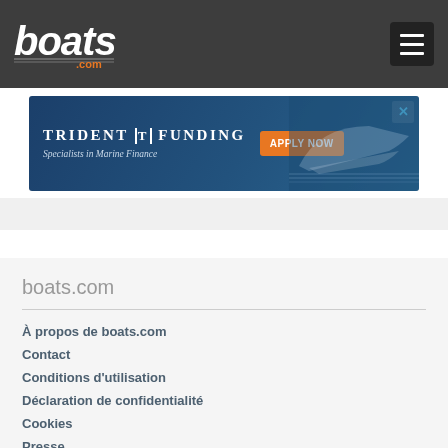boats.com header navigation bar
[Figure (logo): boats.com logo in white italic text on dark grey header background]
[Figure (infographic): Trident Funding marine finance advertisement banner with blue background, 'APPLY NOW' orange button, and boat image. Text: 'TRIDENT FUNDING - Specialists in Marine Finance']
boats.com
À propos de boats.com
Contact
Conditions d'utilisation
Déclaration de confidentialité
Cookies
Presse
Kit Media
Vente de mes informations personnelles non autorisée